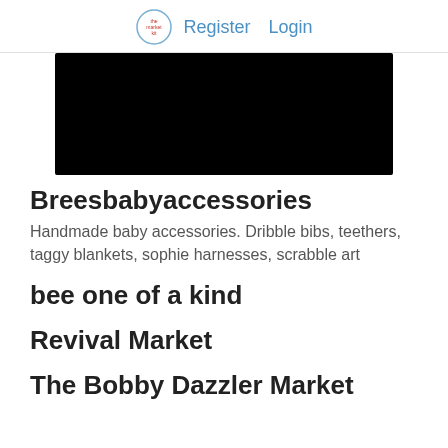Register  Login
[Figure (photo): Black image/banner area, product photo obscured]
Breesbabyaccessories
Handmade baby accessories. Dribble bibs, teethers, taggy blankets, sophie harnesses, scrabble art
bee one of a kind
Revival Market
The Bobby Dazzler Market